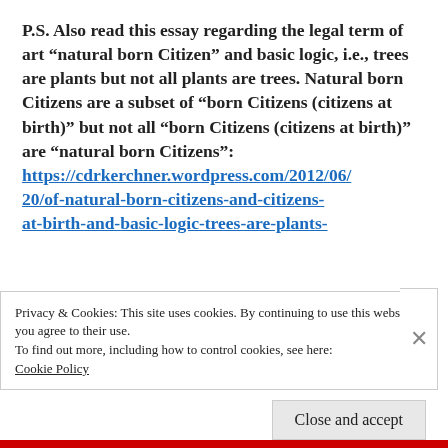P.S. Also read this essay regarding the legal term of art “natural born Citizen” and basic logic, i.e., trees are plants but not all plants are trees. Natural born Citizens are a subset of “born Citizens (citizens at birth)” but not all “born Citizens (citizens at birth)” are “natural born Citizens”: https://cdrkerchner.wordpress.com/2012/06/20/of-natural-born-citizens-and-citizens-at-birth-and-basic-logic-trees-are-plants-
Privacy & Cookies: This site uses cookies. By continuing to use this website, you agree to their use.
To find out more, including how to control cookies, see here: Cookie Policy
Close and accept